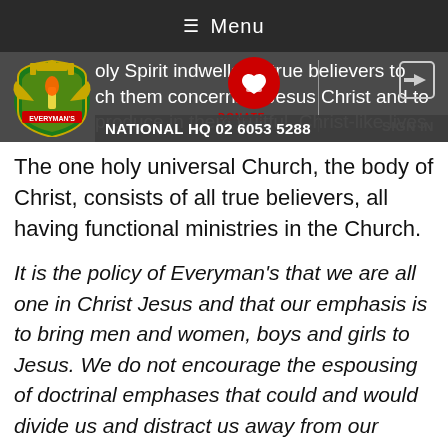≡ Menu
[Figure (logo): Everyman's Welfare Service shield logo with crown, torch, and eagle wings in green, red, yellow and blue]
Holy Spirit indwells all true believers to teach them concerning Jesus Christ and to produce in them fruitful, Christ-like lives.
DONATE
SIGN IN
NATIONAL HQ 02 6053 5288
The one holy universal Church, the body of Christ, consists of all true believers, all having functional ministries in the Church.
It is the policy of Everyman's that we are all one in Christ Jesus and that our emphasis is to bring men and women, boys and girls to Jesus. We do not encourage the espousing of doctrinal emphases that could and would divide us and distract us away from our objectives.